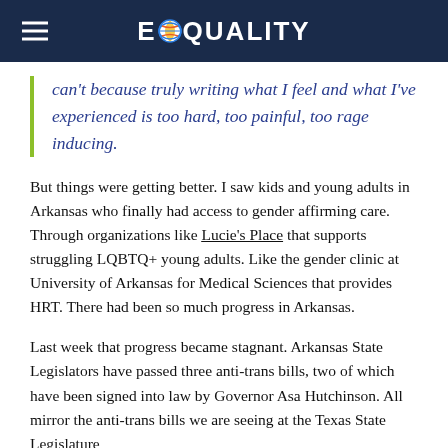EQUALITY
can't because truly writing what I feel and what I've experienced is too hard, too painful, too rage inducing.
But things were getting better. I saw kids and young adults in Arkansas who finally had access to gender affirming care. Through organizations like Lucie's Place that supports struggling LQBTQ+ young adults. Like the gender clinic at University of Arkansas for Medical Sciences that provides HRT. There had been so much progress in Arkansas.
Last week that progress became stagnant. Arkansas State Legislators have passed three anti-trans bills, two of which have been signed into law by Governor Asa Hutchinson. All mirror the anti-trans bills we are seeing at the Texas State Legislature